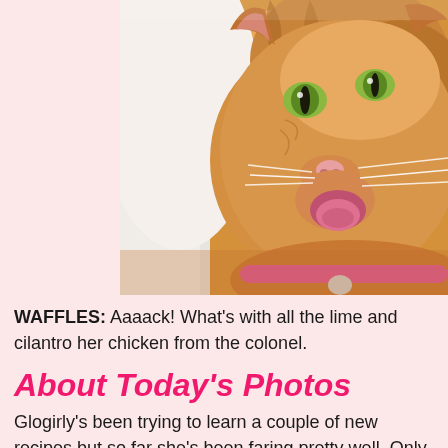[Figure (photo): Close-up photograph of an orange tabby cat with green/yellow eyes, pink nose, and white whiskers, looking directly at the camera. The cat appears to be meowing or showing its tongue. Light background on the left side. The photo is cropped showing primarily the face and upper body.]
WAFFLES:  Aaaack! What's with all the lime and cilantro... her chicken from the colonel.
About Today's Photos
Glogirly's been trying to learn a couple of new recipes... but so far she's been faring pretty well. Only about 1 b... sure though if that includes the recipe where she ope...